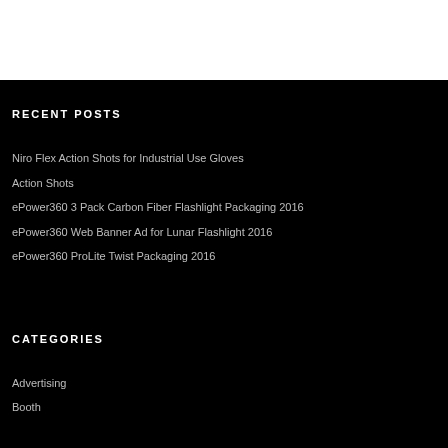RECENT POSTS
Niro Flex Action Shots for Industrial Use Gloves
Action Shots
ePower360 3 Pack Carbon Fiber Flashlight Packaging 2016
ePower360 Web Banner Ad for Lunar Flashlight 2016
ePower360 ProLite Twist Packaging 2016
CATEGORIES
Advertising
Booth